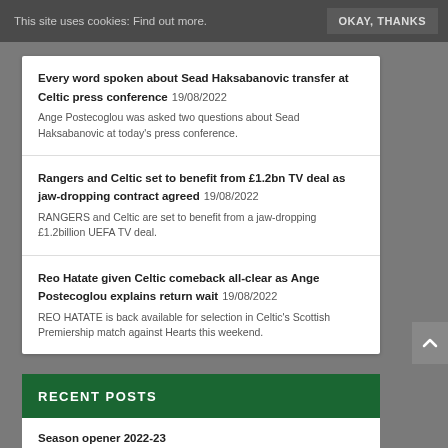This site uses cookies: Find out more. OKAY, THANKS
Every word spoken about Sead Haksabanovic transfer at Celtic press conference 19/08/2022 Ange Postecoglou was asked two questions about Sead Haksabanovic at today's press conference.
Rangers and Celtic set to benefit from £1.2bn TV deal as jaw-dropping contract agreed 19/08/2022 RANGERS and Celtic are set to benefit from a jaw-dropping £1.2billion UEFA TV deal.
Reo Hatate given Celtic comeback all-clear as Ange Postecoglou explains return wait 19/08/2022 REO HATATE is back available for selection in Celtic's Scottish Premiership match against Hearts this weekend.
RECENT POSTS
Season opener 2022-23